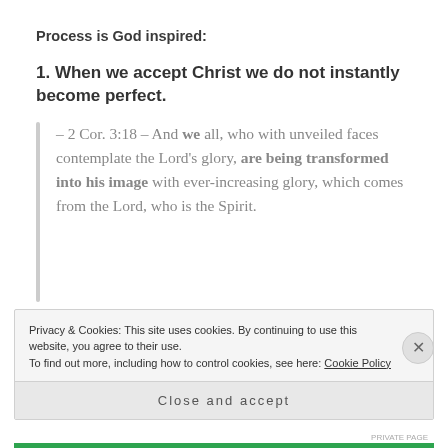Process is God inspired:
1. When we accept Christ we do not instantly become perfect.
– 2 Cor. 3:18 – And we all, who with unveiled faces contemplate the Lord's glory, are being transformed into his image with ever-increasing glory, which comes from the Lord, who is the Spirit.
Privacy & Cookies: This site uses cookies. By continuing to use this website, you agree to their use.
To find out more, including how to control cookies, see here: Cookie Policy
Close and accept